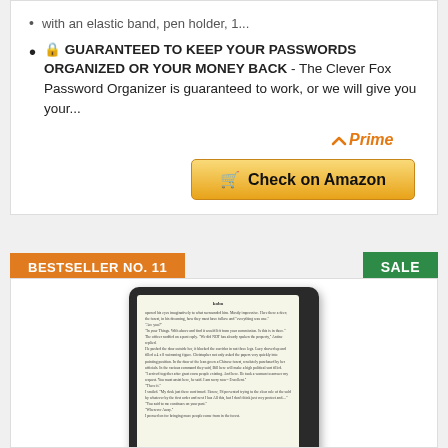with an elastic band, pen holder, 1...
🔒 GUARANTEED TO KEEP YOUR PASSWORDS ORGANIZED OR YOUR MONEY BACK - The Clever Fox Password Organizer is guaranteed to work, or we will give you your...
[Figure (logo): Amazon Prime logo with checkmark]
[Figure (other): Check on Amazon button (golden/orange button with cart icon)]
BESTSELLER NO. 11
SALE
[Figure (photo): Kobo e-reader device showing a book page on its e-ink screen]